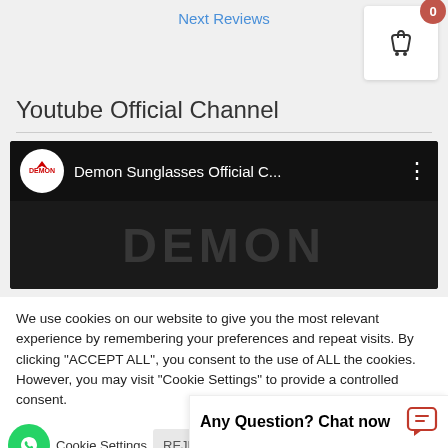Next Reviews
[Figure (screenshot): Shopping cart icon with badge showing 0 items]
Youtube Official Channel
[Figure (screenshot): YouTube embed showing Demon Sunglasses Official Channel with black background and DEMON text]
We use cookies on our website to give you the most relevant experience by remembering your preferences and repeat visits. By clicking "ACCEPT ALL", you consent to the use of ALL the cookies. However, you may visit "Cookie Settings" to provide a controlled consent.
Cookie Settings   REJE[CT]   [ACCEPT ALL]
Any Question? Chat now